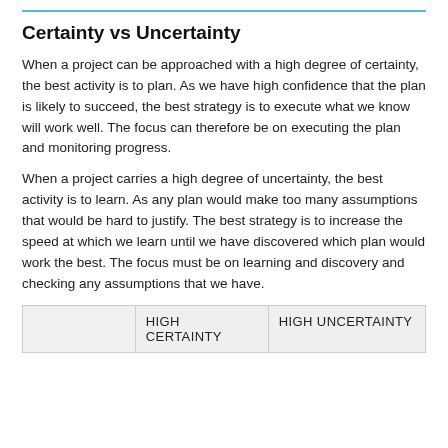Certainty vs Uncertainty
When a project can be approached with a high degree of certainty, the best activity is to plan. As we have high confidence that the plan is likely to succeed, the best strategy is to execute what we know will work well. The focus can therefore be on executing the plan and monitoring progress.
When a project carries a high degree of uncertainty, the best activity is to learn. As any plan would make too many assumptions that would be hard to justify. The best strategy is to increase the speed at which we learn until we have discovered which plan would work the best. The focus must be on learning and discovery and checking any assumptions that we have.
|  | HIGH CERTAINTY | HIGH UNCERTAINTY |
| --- | --- | --- |